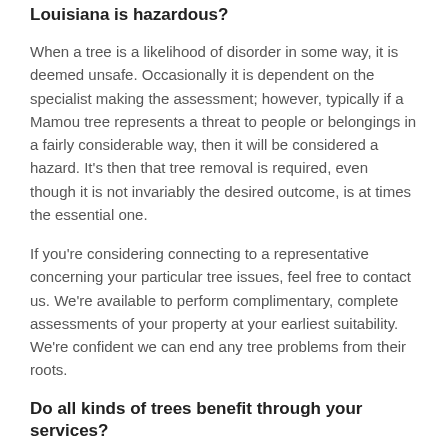Louisiana is hazardous?
When a tree is a likelihood of disorder in some way, it is deemed unsafe. Occasionally it is dependent on the specialist making the assessment; however, typically if a Mamou tree represents a threat to people or belongings in a fairly considerable way, then it will be considered a hazard. It's then that tree removal is required, even though it is not invariably the desired outcome, is at times the essential one.
If you're considering connecting to a representative concerning your particular tree issues, feel free to contact us. We're available to perform complimentary, complete assessments of your property at your earliest suitability. We're confident we can end any tree problems from their roots.
Do all kinds of trees benefit through your services?